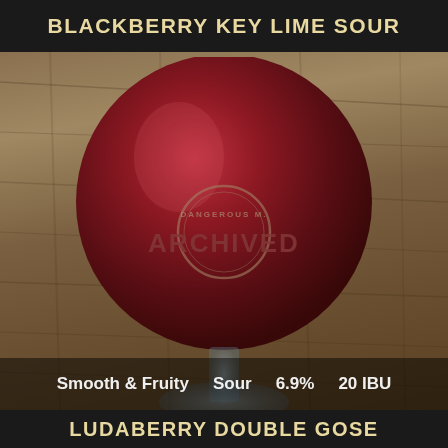BLACKBERRY KEY LIME SOUR
[Figure (photo): A large red/crimson beer in a snifter goblet glass with 'DANGEROUS' brewery logo circle badge and 'ARCHIVED' watermark overlaid on the glass. The glass sits on a wooden table surface. The goblet bowl is deep red/crimson colored beer.]
Smooth & Fruity   Sour   6.9%   20 IBU
LUDABERRY DOUBLE GOSE
[Figure (photo): Partial view of a pink/red beer bottle and a glass with pink beer at the bottom of the frame, partially cut off.]